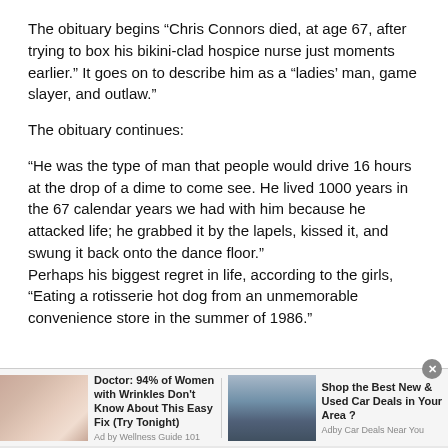The obituary begins “Chris Connors died, at age 67, after trying to box his bikini-clad hospice nurse just moments earlier.” It goes on to describe him as a “ladies’ man, game slayer, and outlaw.”
The obituary continues:
“He was the type of man that people would drive 16 hours at the drop of a dime to come see. He lived 1000 years in the 67 calendar years we had with him because he attacked life; he grabbed it by the lapels, kissed it, and swung it back onto the dance floor.”
Perhaps his biggest regret in life, according to the girls, “Eating a rotisserie hot dog from an unmemorable convenience store in the summer of 1986.”
[Figure (other): Advertisement bar with two ads: left ad shows a woman's face with text 'Doctor: 94% of Women with Wrinkles Don't Know About This Easy Fix (Try Tonight)' by Wellness Guide 101; right ad shows a car with text 'Shop the Best New & Used Car Deals in Your Area?' by Adby Car Deals Near You.]